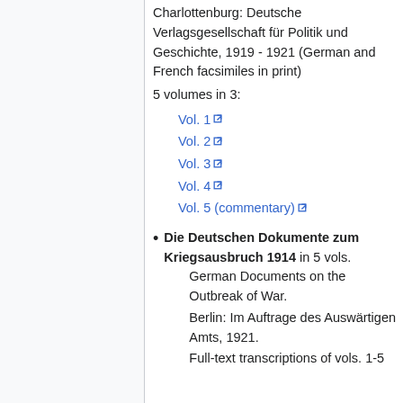Charlottenburg: Deutsche Verlagsgesellschaft für Politik und Geschichte, 1919 - 1921 (German and French facsimiles in print)
5 volumes in 3:
Vol. 1
Vol. 2
Vol. 3
Vol. 4
Vol. 5 (commentary)
Die Deutschen Dokumente zum Kriegsausbruch 1914 in 5 vols. German Documents on the Outbreak of War. Berlin: Im Auftrage des Auswärtigen Amts, 1921. Full-text transcriptions of vols. 1-5